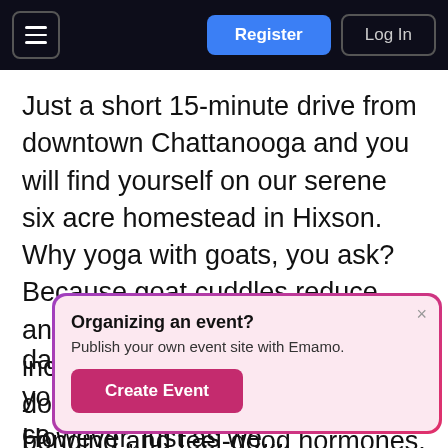Register | Log In
Just a short 15-minute drive from downtown Chattanooga and you will find yourself on our serene six acre homestead in Hixson. Why yoga with goats, you ask? Because goat cuddles reduce anxiety and depression by increasing oxytocin and dopamine levels, those good ole bonding and feel-good hormones. Now who doesn't need more of that especially these days...
Organizing an event? Publish your own event site with Emamo. Create Event